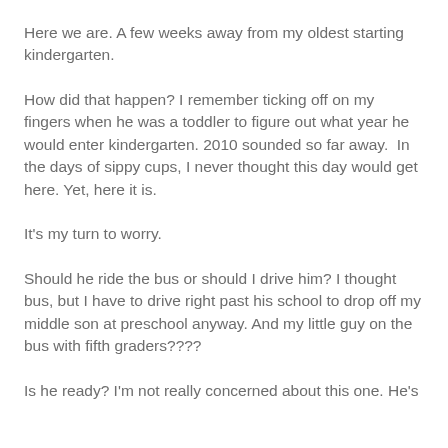Here we are. A few weeks away from my oldest starting kindergarten.
How did that happen? I remember ticking off on my fingers when he was a toddler to figure out what year he would enter kindergarten. 2010 sounded so far away.  In the days of sippy cups, I never thought this day would get here. Yet, here it is.
It's my turn to worry.
Should he ride the bus or should I drive him? I thought bus, but I have to drive right past his school to drop off my middle son at preschool anyway. And my little guy on the bus with fifth graders????
Is he ready? I'm not really concerned about this one. He's